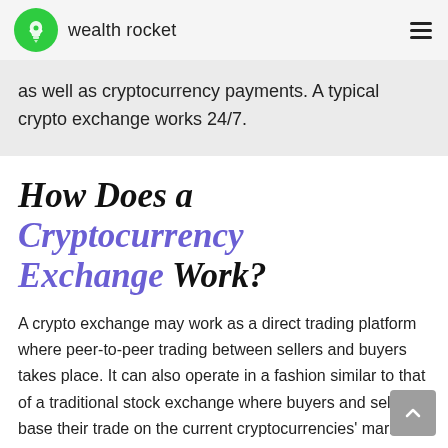wealth rocket
as well as cryptocurrency payments. A typical crypto exchange works 24/7.
How Does a Cryptocurrency Exchange Work?
A crypto exchange may work as a direct trading platform where peer-to-peer trading between sellers and buyers takes place. It can also operate in a fashion similar to that of a traditional stock exchange where buyers and sellers base their trade on the current cryptocurrencies' market price.